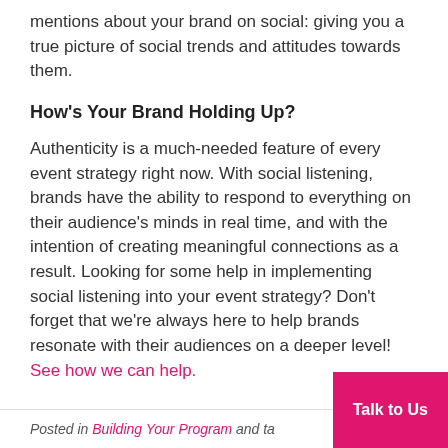mentions about your brand on social: giving you a true picture of social trends and attitudes towards them.
How's Your Brand Holding Up?
Authenticity is a much-needed feature of every event strategy right now. With social listening, brands have the ability to respond to everything on their audience's minds in real time, and with the intention of creating meaningful connections as a result. Looking for some help in implementing social listening into your event strategy? Don't forget that we're always here to help brands resonate with their audiences on a deeper level! See how we can help.
Posted in Building Your Program and ta... Talk to Us